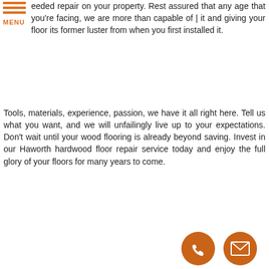[Figure (logo): Orange hamburger menu icon with three horizontal bars and MENU label below]
eeded repair on your property. Rest assured that any age that you’re facing, we are more than capable of | it and giving your floor its former luster from when you first installed it.
Tools, materials, experience, passion, we have it all right here. Tell us what you want, and we will unfailingly live up to your expectations. Don’t wait until your wood flooring is already beyond saving. Invest in our Haworth hardwood floor repair service today and enjoy the full glory of your floors for many years to come.
Call Martinez Flooring and Fencing at (201) 529-6003 for your Free Consultation!
Signs to Have Hardwood Floor Repair
[Figure (illustration): Orange circle button with white phone handset icon]
[Figure (illustration): Orange circle button with white envelope/mail icon]